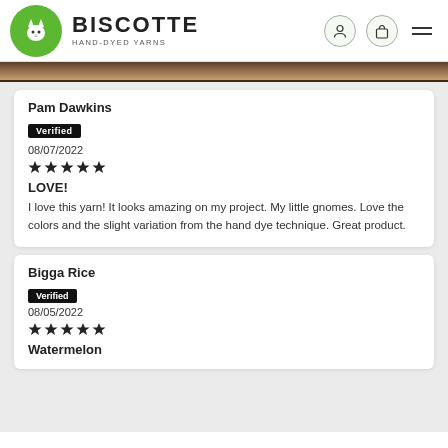BISCOTTE HAND-DYED YARNS
Pam Dawkins
Verified
08/07/2022
★★★★★
LOVE!
I love this yarn! It looks amazing on my project. My little gnomes. Love the colors and the slight variation from the hand dye technique. Great product.
Bigga Rice
Verified
08/05/2022
★★★★★
Watermelon